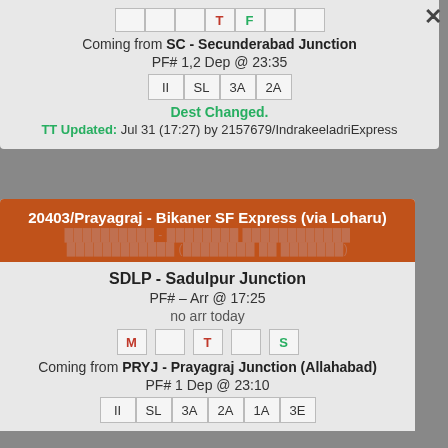T F
Coming from SC - Secunderabad Junction
PF# 1,2 Dep @ 23:35
II SL 3A 2A
Dest Changed.
TT Updated: Jul 31 (17:27) by 2157679/IndrakeeladriExpress
20403/Prayagraj - Bikaner SF Express (via Loharu)
SDLP - Sadulpur Junction
PF# – Arr @ 17:25
no arr today
M T S
Coming from PRYJ - Prayagraj Junction (Allahabad)
PF# 1 Dep @ 23:10
II SL 3A 2A 1A 3E